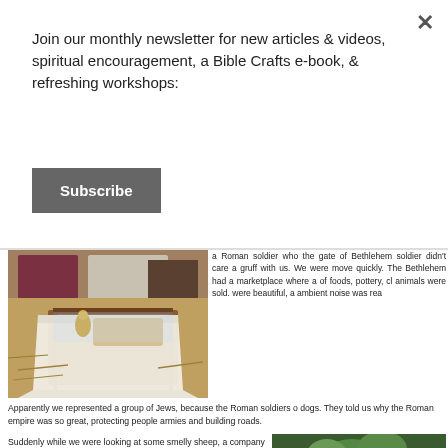Join our monthly newsletter for new articles & videos, spiritual encouragement, a Bible Crafts e-book, & refreshing workshops:
Subscribe
[Figure (photo): Photo of a manger/cradle with white cloth draped over it, set on straw-covered floor with people in biblical costumes in background]
a Roman soldier who the gate of Bethlehem soldier didn't care a gruff with us. We were move quickly. The Bethlehem had a marketplace where a of foods, pottery, cl animals were sold. were beautiful, a ambient noise was rea
Apparently we represented a group of Jews, because the Roman soldiers o dogs. They told us why the Roman empire was so great, protecting people armies and building roads.
Suddenly while we were looking at some smelly sheep, a company of (somewhat
[Figure (photo): Photo of green plants/foliage in bottom right corner]